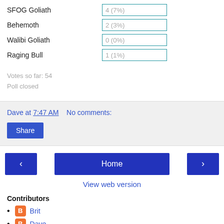| Option | Votes |
| --- | --- |
| SFOG Goliath | 4 (7%) |
| Behemoth | 2 (3%) |
| Walibi Goliath | 0 (0%) |
| Raging Bull | 1 (1%) |
Votes so far: 54
Poll closed
Dave at 7:47 AM   No comments:
Share
< Home >
View web version
Contributors
Brit
Dave